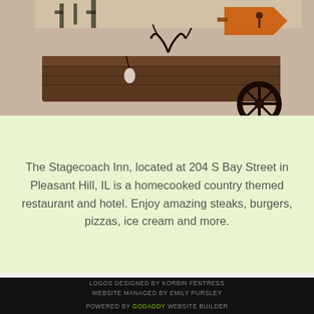[Figure (photo): Photo of a rustic wooden wagon with cacti decorations, antlers, and a western-themed orange arrow sign with a cowboy silhouette, set against a beige/cream background.]
The Stagecoach Inn, located at 204 S Bay Street in Pleasant Hill, IL is a homecooked country themed restaurant and hotel. Enjoy amazing steaks, burgers, pizzas, ice cream and more.
LOGOS DESIGNED BY KORBIN FENTRESS
WEBSITE MANAGED BY EMILY PURSLEY
POWERED BY GODADDY WEBSITE BUILDER